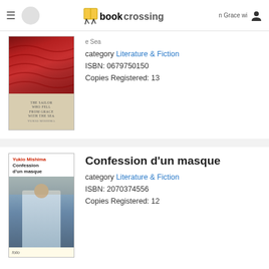bookcrossing
category Literature & Fiction
ISBN: 0679750150
Copies Registered: 13
Confession d'un masque
category Literature & Fiction
ISBN: 2070374556
Copies Registered: 12